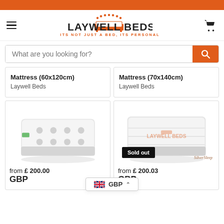Laywell Beds - ITS NOT JUST A BED, ITS PERSONAL
What are you looking for?
Mattress (60x120cm)
Laywell Beds
Mattress (70x140cm)
Laywell Beds
[Figure (photo): White mattress product photo for first product card (from £200.00 GBP)]
from £ 200.00
GBP
[Figure (photo): White mattress product photo for second product card with Sold out badge and SilverSleep logo (from £200.03 GBP)]
from £ 200.03
GBP
GBP